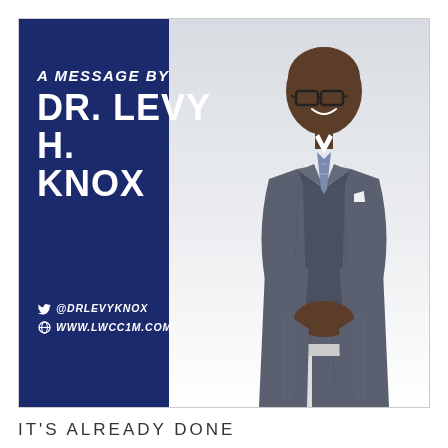[Figure (photo): Promotional image for a sermon/message by Dr. Levy H. Knox. Left side has a dark navy diagonal panel with text 'A MESSAGE BY DR. LEVY H. KNOX' and social handles '@DRLEVYKNOX' and 'WWW.LWCC1M.COM'. Right side shows Dr. Knox, a well-dressed man in a gray pinstripe suit, sitting on a stool, smiling.]
IT'S ALREADY DONE